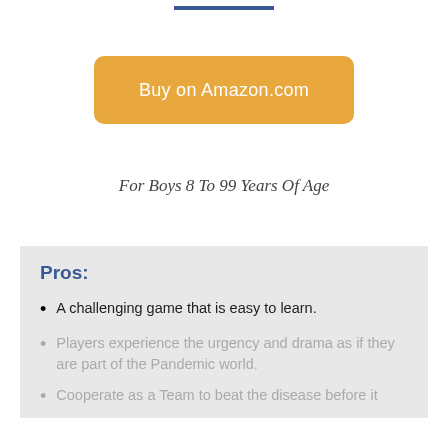[Figure (other): Top blue horizontal bar/divider line]
Buy on Amazon.com
For Boys  8 To 99 Years Of Age
Pros:
A challenging game that is easy to learn.
Players experience the urgency and drama as if they are part of the Pandemic world.
Cooperate as a Team to beat the disease before it